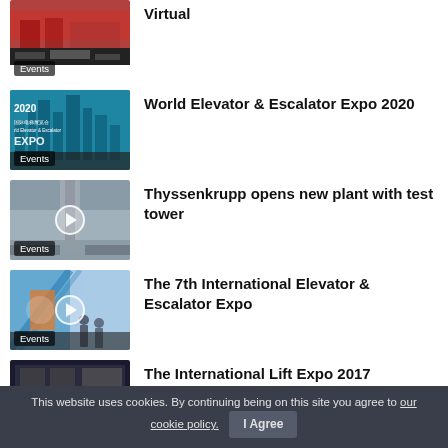Virtual
World Elevator & Escalator Expo 2020
Thyssenkrupp opens new plant with test tower
The 7th International Elevator & Escalator Expo
The International Lift Expo 2017
This website uses cookies. By continuing being on this site you agree to our cookie policy.   I Agree